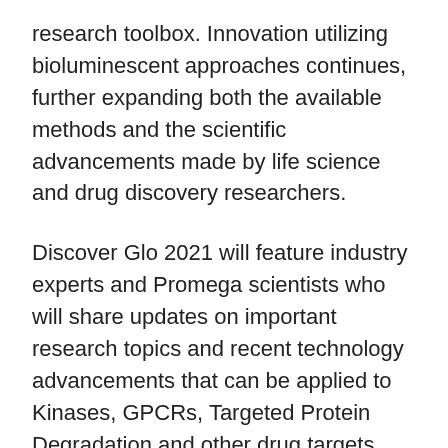research toolbox. Innovation utilizing bioluminescent approaches continues, further expanding both the available methods and the scientific advancements made by life science and drug discovery researchers.
Discover Glo 2021 will feature industry experts and Promega scientists who will share updates on important research topics and recent technology advancements that can be applied to Kinases, GPCRs, Targeted Protein Degradation and other drug targets and research areas. In honor of the 30th anniversary of the first bioluminescence-based products launched by Promega, Bill Linton, President & CEO of Promega, will open the series with comments on the past, present and future of